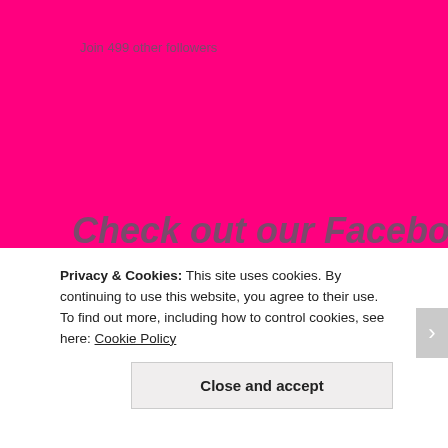Join 499 other followers
Check out our Facebook pages.T.W.Allgaier, A Pen and Brush, Encouragement for Today, AAllgaierArtwork
[Figure (photo): Partial photo of a person with dark hair against a light background]
Privacy & Cookies: This site uses cookies. By continuing to use this website, you agree to their use.
To find out more, including how to control cookies, see here: Cookie Policy
Close and accept